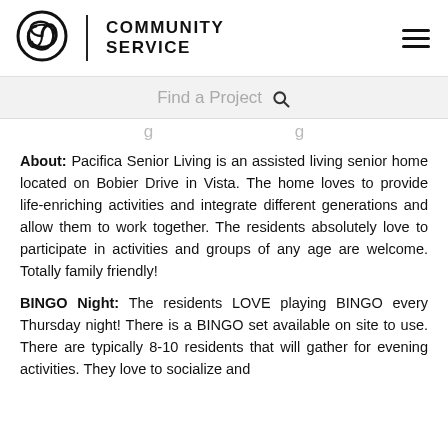Community Service
Find a Project
About:  Pacifica Senior Living is an assisted living senior home located on Bobier Drive in Vista.  The home loves to provide life-enriching activities and integrate different generations and allow them to work together.  The residents absolutely love to participate in activities and groups of any age are welcome.  Totally family friendly!
BINGO Night:  The residents LOVE playing BINGO every Thursday night!  There is a BINGO set available on site to use.  There are typically 8-10 residents that will gather for evening activities.  They love to socialize and